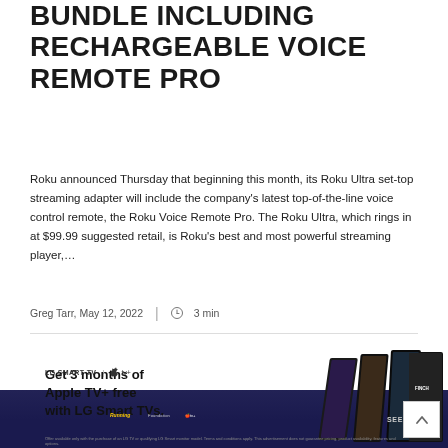BUNDLE INCLUDING RECHARGEABLE VOICE REMOTE PRO
Roku announced Thursday that beginning this month, its Roku Ultra set-top streaming adapter will include the company's latest top-of-the-line voice control remote, the Roku Voice Remote Pro. The Roku Ultra, which rings in at $99.99 suggested retail, is Roku's best and most powerful streaming player,…
Greg Tarr, May 12, 2022 | 🕐 3 min
[Figure (photo): Advertisement for LG Smart TV with Apple TV+ offering 3 months free. Shows LG Smart TV displaying movie content with Apple TV+ logo, text reads 'Get 3 months of Apple TV+ free with LG Smart TVs.' LG SMART TV and Apple TV+ logos shown at bottom left. A scroll-to-top button appears at bottom right.]